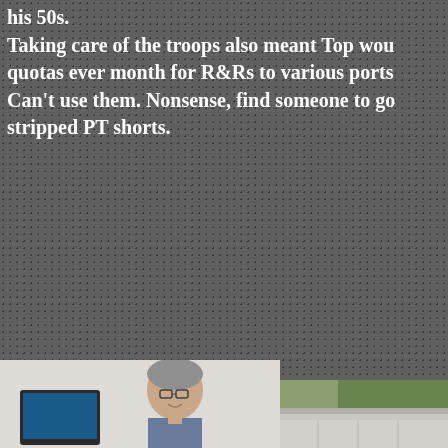his 50s. Taking care of the troops also meant Top wou quotas ever month for R&Rs to various ports Can't use them. Nonsense, find someone to go stripped PT shorts.
[Figure (photo): Outdoor photo showing a metal shed or building with a vehicle or trailer in front, rural setting]
[Figure (photo): Photo of an older man with gray hair and glasses sitting at a desk with a computer monitor, appears to be in an office setting]